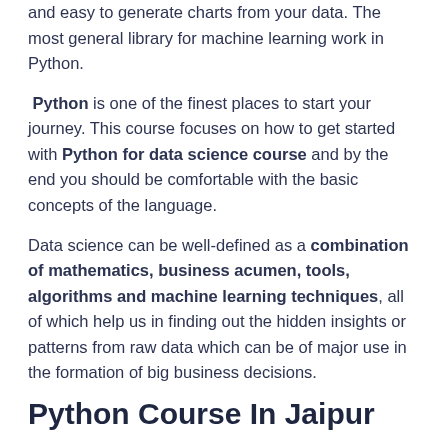and easy to generate charts from your data. The most general library for machine learning work in Python.
Python is one of the finest places to start your journey. This course focuses on how to get started with Python for data science course and by the end you should be comfortable with the basic concepts of the language.
Data science can be well-defined as a combination of mathematics, business acumen, tools, algorithms and machine learning techniques, all of which help us in finding out the hidden insights or patterns from raw data which can be of major use in the formation of big business decisions.
Python Course In Jaipur
1 Applied Plotting, Charting & Data Representation in Python
The course will start with a design and information literacy